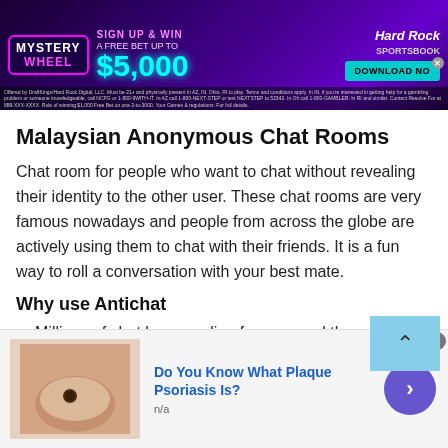[Figure (other): Hard Rock Sportsbook advertisement banner: Mystery Wheel - Sign Up & Win A Free Bet Up To $5,000. Download Now button. Dark purple background with neon colors.]
Malaysian Anonymous Chat Rooms
Chat room for people who want to chat without revealing their identity to the other user. These chat rooms are very famous nowadays and people from across the globe are actively using them to chat with their friends. It is a fun way to roll a conversation with your best mate.
Why use Antichat
Millions of chat lovers online from around the world
[Figure (other): Bottom advertisement: Do You Know What Plaque Psoriasis Is? with skin photo and navigation arrow button. n/a subtext.]